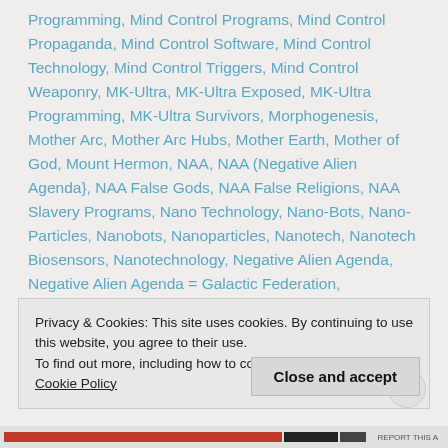Programming, Mind Control Programs, Mind Control Propaganda, Mind Control Software, Mind Control Technology, Mind Control Triggers, Mind Control Weaponry, MK-Ultra, MK-Ultra Exposed, MK-Ultra Programming, MK-Ultra Survivors, Morphogenesis, Mother Arc, Mother Arc Hubs, Mother Earth, Mother of God, Mount Hermon, NAA, NAA (Negative Alien Agenda}, NAA False Gods, NAA False Religions, NAA Slavery Programs, Nano Technology, Nano-Bots, Nano-Particles, Nanobots, Nanoparticles, Nanotech, Nanotech Biosensors, Nanotechnology, Negative Alien Agenda, Negative Alien Agenda = Galactic Federation,
Privacy & Cookies: This site uses cookies. By continuing to use this website, you agree to their use. To find out more, including how to control cookies, see here: Cookie Policy
Close and accept